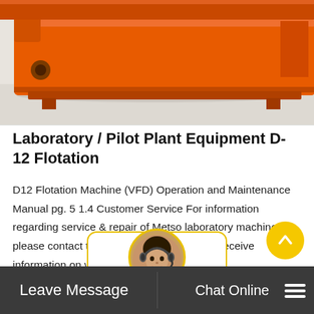[Figure (photo): Orange industrial flotation machine (D-12) in a factory/warehouse setting, viewed from side angle showing large rectangular orange metal body on a concrete floor.]
Laboratory / Pilot Plant Equipment D-12 Flotation
D12 Flotation Machine (VFD) Operation and Maintenance Manual pg. 5 1.4 Customer Service For information regarding service & repair of Metso laboratory machines, please contact the closest Metso office. To receive information on where to find the closest…
[Figure (illustration): Chat widget with yellow-bordered white rounded rectangle and a circular avatar of a woman wearing a headset, with yellow border.]
Leave Message   Chat Online